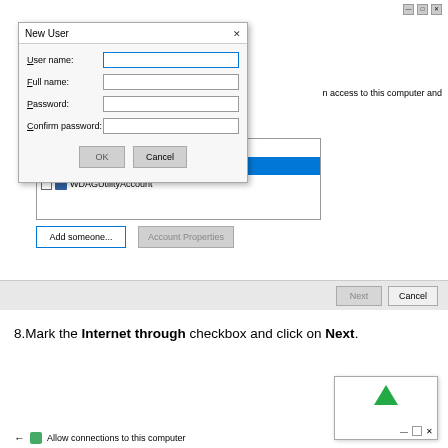[Figure (screenshot): Windows 'New User' dialog box overlaid on a user accounts management window. The dialog has fields: User name, Full name, Password, Confirm password, with OK and Cancel buttons. The background window shows a list of accounts (NODDY selected in blue, WDAGUtilityAccount) with Add someone... and Account Properties buttons. A bottom bar has Next (grayed) and Cancel buttons.]
8.Mark the Internet through checkbox and click on Next.
[Figure (screenshot): Partial mini window showing an up arrow in green, minimize/restore/close buttons, and a bottom navigation bar.]
← Allow connections to this computer